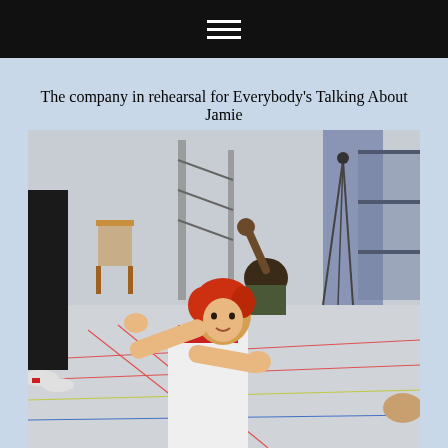The company in rehearsal for Everybody's Talking About Jamie
[Figure (photo): Rehearsal photo showing performers dancing/moving in a sports hall. In the foreground, a person with red hair in a white outfit leans forward with arms extended. In the background, another person sits on the floor. To the left, legs in black trousers are partially visible. A wooden chair, scaffolding, tripod and equipment shelves are visible in the background.]